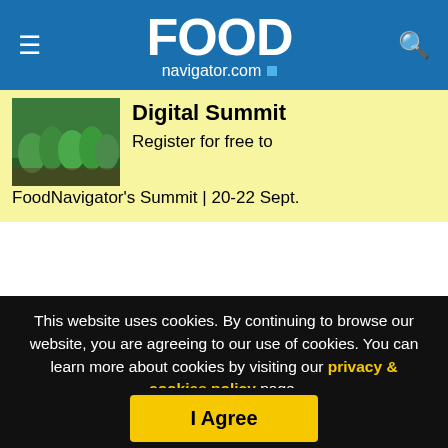FOODnavigator.com
[Figure (screenshot): Yellow promotional banner for Digital Summit with green plant image on left]
The internet site, called MySupermarket, calculates which store is offering the best promotions that week, allowing customers to compare and switch supermarkets in a bid to save pennies.
This website uses cookies. By continuing to browse our website, you are agreeing to our use of cookies. You can learn more about cookies by visiting our privacy & cookies policy page.
I Agree